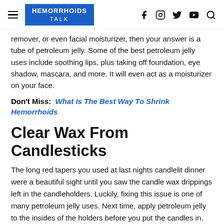HEMORRHOIDS TALK
remover, or even facial moisturizer, then your answer is a tube of petroleum jelly. Some of the best petroleum jelly uses include soothing lips, plus taking off foundation, eye shadow, mascara, and more. It will even act as a moisturizer on your face.
Don't Miss: What Is The Best Way To Shrink Hemorrhoids
Clear Wax From Candlesticks
The long red tapers you used at last nights candlelit dinner were a beautiful sight until you saw the candle wax drippings left in the candleholders. Luckily, fixing this issue is one of many petroleum jelly uses. Next time, apply petroleum jelly to the insides of the holders before you put the candles in. The wax will pop out for easy cleaning.